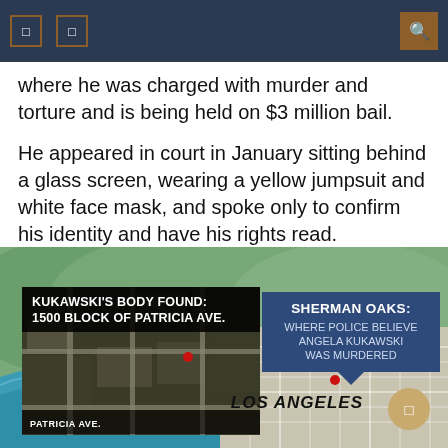where he was charged with murder and torture and is being held on $3 million bail.
He appeared in court in January sitting behind a glass screen, wearing a yellow jumpsuit and white face mask, and spoke only to confirm his identity and have his rights read.
[Figure (map): Map of Los Angeles area showing Sherman Oaks where police believe Angela Kukawski was murdered, and inset satellite view of 1500 block of Patricia Ave where Kukawski's body was found.]